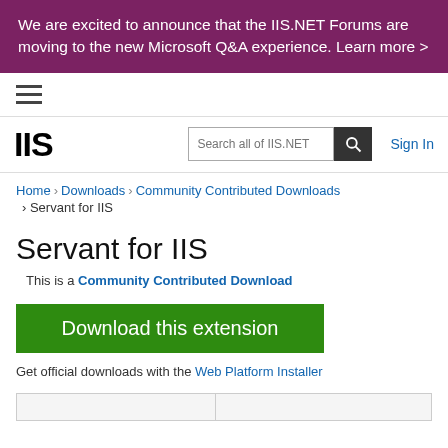We are excited to announce that the IIS.NET Forums are moving to the new Microsoft Q&A experience. Learn more >
[Figure (other): Hamburger navigation menu icon (three horizontal lines)]
[Figure (logo): IIS logo text in bold black with search bar and Sign In link]
Home › Downloads › Community Contributed Downloads › Servant for IIS
Servant for IIS
This is a Community Contributed Download
Download this extension
Get official downloads with the Web Platform Installer